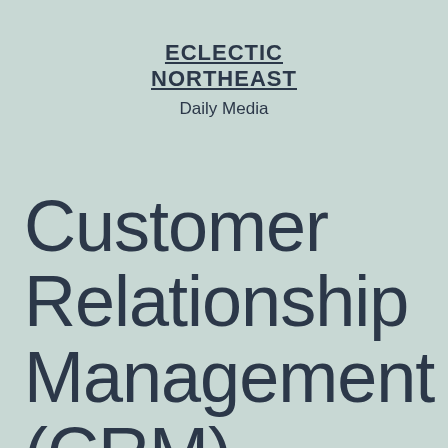ECLECTIC NORTHEAST
Daily Media
Customer Relationship Management (CRM)